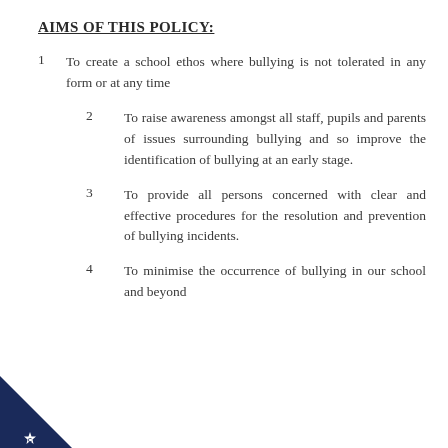AIMS OF THIS POLICY:
1     To create a school ethos where bullying is not tolerated in any form or at any time
2     To raise awareness amongst all staff, pupils and parents of issues surrounding bullying and so improve the identification of bullying at an early stage.
3     To provide all persons concerned with clear and effective procedures for the resolution and prevention of bullying incidents.
4     To minimise the occurrence of bullying in our school and beyond
[Figure (logo): School logo: dark navy blue triangle in bottom-left corner with a white star/cogwheel badge and letter C]